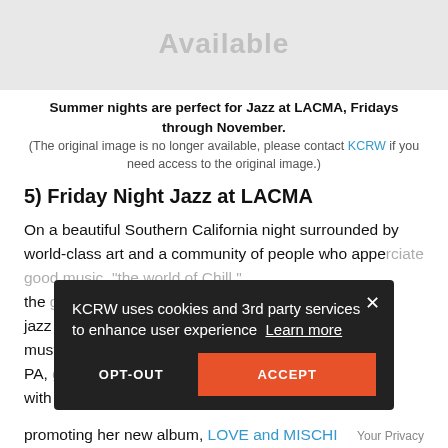[Figure (other): Gray placeholder image with 'Available' text visible, indicating original image is no longer accessible]
Summer nights are perfect for Jazz at LACMA, Fridays through November.
(The original image is no longer available, please contact KCRW if you need access to the original image.)
5) Friday Night Jazz at LACMA
On a beautiful Southern California night surrounded by world-class art and a community of people who appreciate good music, "the world of Chill," the [text obscured by cookie overlay] jazz [text obscured] must [text obscured] PA, [text obscured] with [text obscured]
promoting her new album, LOVE and MISCHI[ef]
[Figure (screenshot): Cookie consent dialog: 'KCRW uses cookies and 3rd party services to enhance user experience Learn more' with OPT-OUT and ACCEPT buttons and a close (×) button]